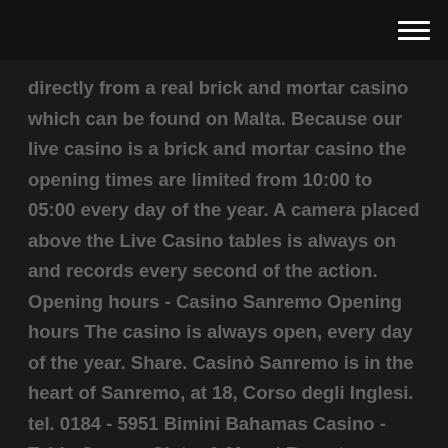[hamburger menu icon]
directly from a real brick and mortar casino which can be found on Malta. Because our live casino is a brick and mortar casino the opening times are limited from 10:00 to 05:00 every day of the year. A camera placed above the Live Casino tables is always on and records every second of the action. Opening hours - Casino Sanremo Opening hours The casino is always open, every day of the year. Share. Casinò Sanremo is in the heart of Sanremo, at 18, Corso degli Inglesi. tel. 0184 - 5951 Bimini Bahamas Casino - Table Games, Slots, & More | Resorts ... Welcome to the first casino in the world to boast panoramic water views. The world-class Resorts World Bimini Casino is a 10,000 square-foot, live-action casino featuring popular tables games with competitive table limits, including Baccarat, Blackjack, Craps, Roulette, over 160 slot machines, a high limit area...